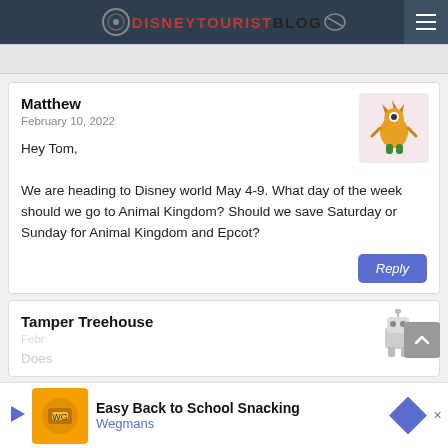DISNEYTURISTBLOG
Matthew
February 10, 2022
Hey Tom,
We are heading to Disney world May 4-9. What day of the week should we go to Animal Kingdom? Should we save Saturday or Sunday for Animal Kingdom and Epcot?
Tamper Treehouse